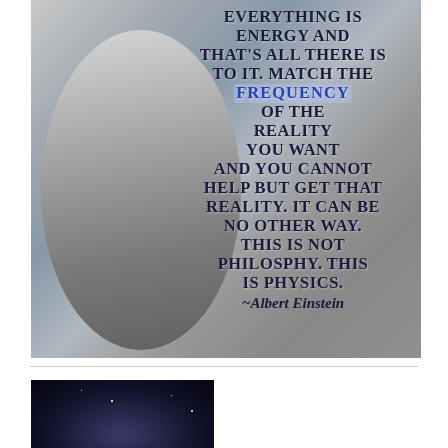[Figure (photo): Black and white photo of Albert Einstein standing near sailboat rigging, with an inspirational quote overlaid in bold dark navy uppercase text. The word FREQUENCY is highlighted in blue. Quote reads: 'Everything is energy and that's all there is to it. Match the frequency of the reality you want and you cannot help but get that reality. It can be no other way. This is not philosphy. This is physics. ~Albert Einstein']
[Figure (photo): Small dark image at bottom left, appears to be a night sky or space scene]